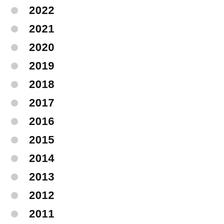2022
2021
2020
2019
2018
2017
2016
2015
2014
2013
2012
2011